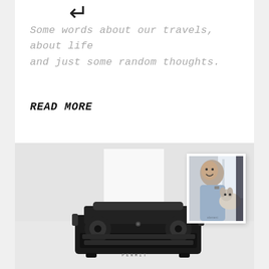[Figure (illustration): Decorative arrow or punctuation symbol at top]
Some words about our travels, about life and just some random thoughts.
READ MORE
[Figure (photo): A vintage black typewriter on a white background with a blank sheet of paper inserted, viewed from slightly above. In the upper right corner, an overlapping polaroid-style photo shows a young man smiling with a husky dog.]